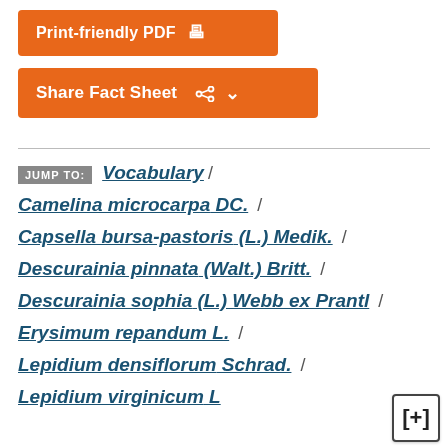Print-friendly PDF
Share Fact Sheet
JUMP TO: Vocabulary / Camelina microcarpa DC. / Capsella bursa-pastoris (L.) Medik. / Descurainia pinnata (Walt.) Britt. / Descurainia sophia (L.) Webb ex Prantl / Erysimum repandum L. / Lepidium densiflorum Schrad. / Lepidium virginicum L.